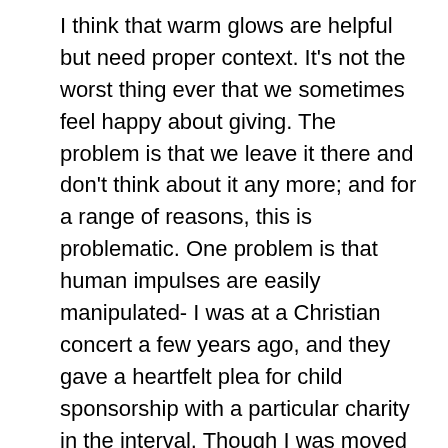I think that warm glows are helpful but need proper context. It's not the worst thing ever that we sometimes feel happy about giving. The problem is that we leave it there and don't think about it any more; and for a range of reasons, this is problematic. One problem is that human impulses are easily manipulated- I was at a Christian concert a few years ago, and they gave a heartfelt plea for child sponsorship with a particular charity in the interval. Though I was moved at the time, I found out later that the band was paid £50 by that charity for every child sponsorship they achieved; somewhat cheapening the experience.